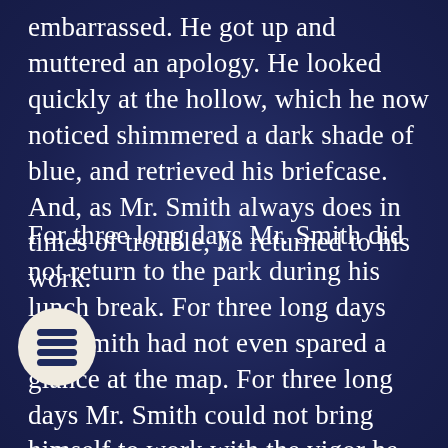embarrassed. He got up and muttered an apology. He looked quickly at the hollow, which he now noticed shimmered a dark shade of blue, and retrieved his briefcase. And, as Mr. Smith always does in times of trouble, he returned to his work.
For three long days Mr. Smith did not return to the park during his lunch break. For three long days Mr. Smith had not even spared a glance at the map. For three long days Mr. Smith could not bring himself to work with the vigor he usually did. For three long days he pretended that nothing happened. But indeed something had. And interrupting his work. Mr. Smith was a good man, but if there was one thing in the entire world that he would not forgive
[Figure (logo): Circular logo with cream/beige background and dark blue stylized letter S or stacked lines icon]